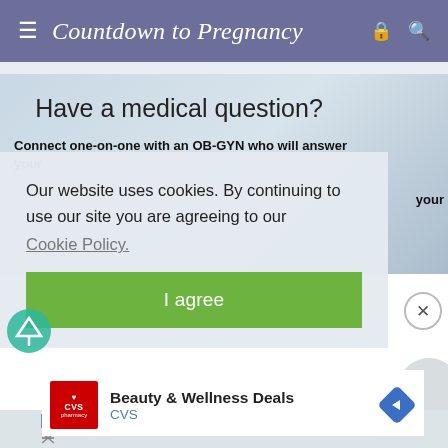Countdown to Pregnancy
Have a medical question?
Connect one-on-one with an OB-GYN who will answer your
Our website uses cookies. By continuing to use our site you are agreeing to our Cookie Policy.
I agree
[Figure (screenshot): CVS Pharmacy advertisement banner: Beauty & Wellness Deals, CVS]
Beauty & Wellness Deals CVS